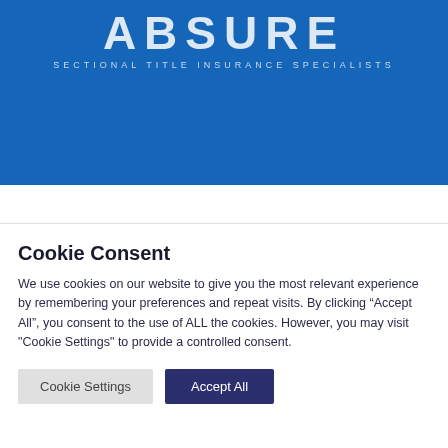[Figure (logo): Absure Sectional Title Insurance Specialists logo — white text on blue background]
Cookie Consent
We use cookies on our website to give you the most relevant experience by remembering your preferences and repeat visits. By clicking “Accept All”, you consent to the use of ALL the cookies. However, you may visit "Cookie Settings" to provide a controlled consent.